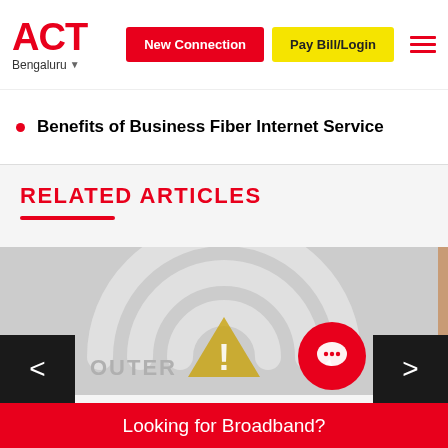ACT Bengaluru | New Connection | Pay Bill/Login
Benefits of Business Fiber Internet Service
RELATED ARTICLES
[Figure (illustration): WiFi signal icon with warning triangle on gray background, with ROUTER text visible at bottom. Navigation arrows on left and right sides. Red circular chat button.]
Looking for Broadband?